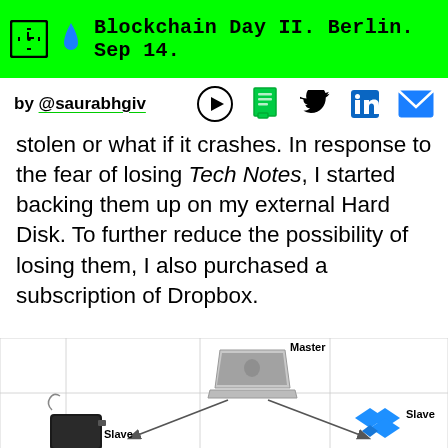Blockchain Day II. Berlin. Sep 14.
by @saurabhgiv
stolen or what if it crashes. In response to the fear of losing Tech Notes, I started backing them up on my external Hard Disk. To further reduce the possibility of losing them, I also purchased a subscription of Dropbox.
[Figure (infographic): Diagram showing a Master laptop connected by arrows to two Slave nodes: one is an external hard disk (bottom-left) and one is Dropbox (bottom-right). The diagram has a grid background.]